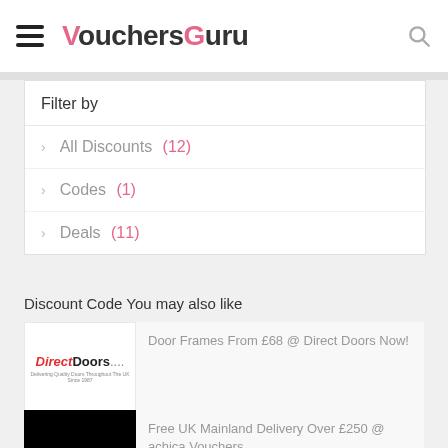VouchersGuru
Filter by
All Discounts (12)
Codes (1)
Deals (11)
Discount Code You may also like
[Figure (logo): Direct Doors logo]
Door Frames From £68 @ Direct Doors Now!
[Figure (logo): ACHICA logo on black background]
Free UK Mainland Delivery Over £250 @ achica Vouchers
[Figure (logo): Darlings logo (partially visible)]
Get 35% Off on Selected Clearance Fabric Sofas with